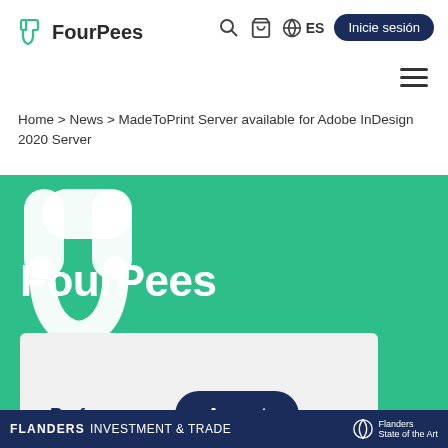FourPees | Search | Cart | ES | Inicie sesión
Home > News > MadeToPrint Server available for Adobe InDesign 2020 Server
[Figure (logo): FourPees logo large white watermark on green background, with FourPees brand text]
Preferences   Accept
FLANDERS INVESTMENT & TRADE | Flanders State of the Art